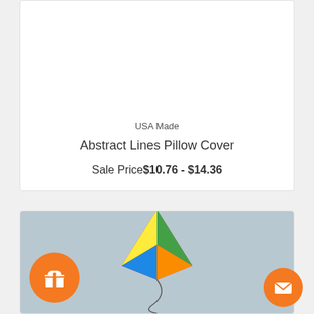USA Made
Abstract Lines Pillow Cover
Sale Price$10.76 - $14.36
[Figure (photo): Product listing card showing a colorful kite against a grey sky background, with orange gift and mail floating action buttons]
[Figure (other): Orange circular gift button with gift box icon]
[Figure (other): Orange circular mail button with envelope icon]